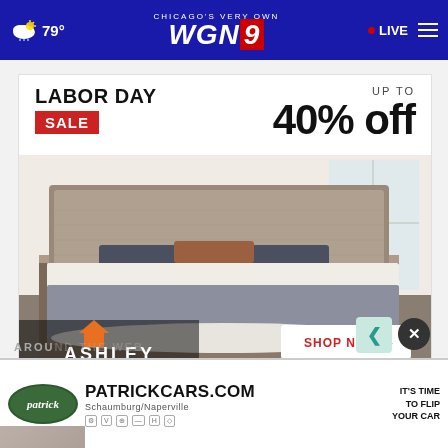CHICAGO'S VERY OWN WGN9  79°  LIVE
[Figure (photo): Ashley Furniture Labor Day Sale advertisement showing a bed with gray upholstered headboard and quilted white bedding. Text reads: LABOR DAY SALE UP TO 40% off. Ashley logo and SHOP NOW button at bottom.]
AROUND THE WEB
[Figure (screenshot): Patrick Cars advertisement banner: PATRICKCARS.COM Schaumburg/Naperville - IT'S TIME TO FLIP YOUR CAR]